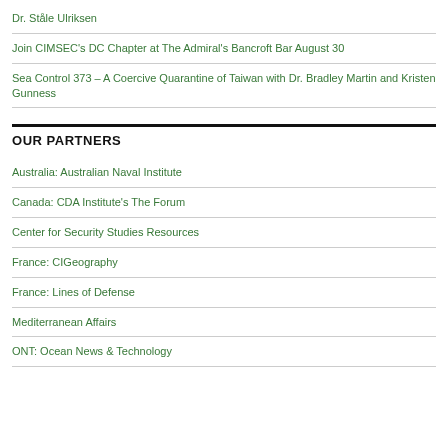Dr. Ståle Ulriksen
Join CIMSEC's DC Chapter at The Admiral's Bancroft Bar August 30
Sea Control 373 – A Coercive Quarantine of Taiwan with Dr. Bradley Martin and Kristen Gunness
OUR PARTNERS
Australia: Australian Naval Institute
Canada: CDA Institute's The Forum
Center for Security Studies Resources
France: CIGeography
France: Lines of Defense
Mediterranean Affairs
ONT: Ocean News & Technology